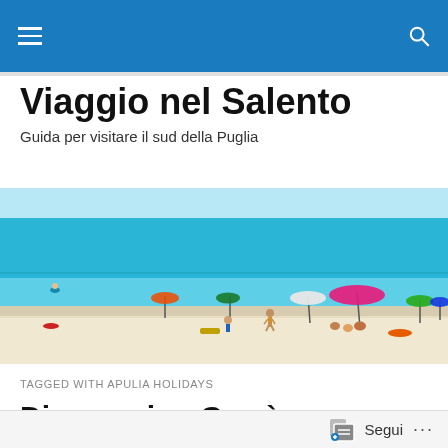Navigation bar with hamburger menu and search icon
Viaggio nel Salento
Guida per visitare il sud della Puglia
[Figure (photo): Beach scene with turquoise sea, white sand, and people with colorful beach umbrellas (orange, green, white, pink, blue) in Salento, Puglia]
TAGGED WITH APULIA HOLIDAYS
Discovering Grecìa Salentina: Calimera
Segui ...